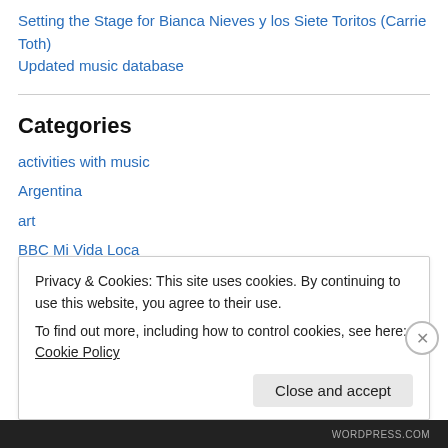Setting the Stage for Bianca Nieves y los Siete Toritos (Carrie Toth)
Updated music database
Categories
activities with music
Argentina
art
BBC Mi Vida Loca
Bianca Nieves y los 7 toritos
Camila
children's literature
Privacy & Cookies: This site uses cookies. By continuing to use this website, you agree to their use.
To find out more, including how to control cookies, see here: Cookie Policy
Close and accept